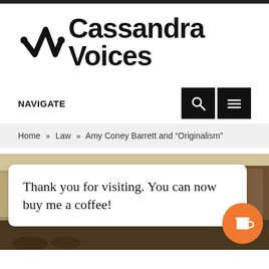Cassandra Voices
NAVIGATE
Home » Law » Amy Coney Barrett and "Originalism"
[Figure (photo): Historical painting of a legislative or constitutional assembly hall, with figures in 18th century dress. A white popup toast overlay reads 'Thank you for visiting. You can now buy me a coffee!' with an orange coffee cup button.]